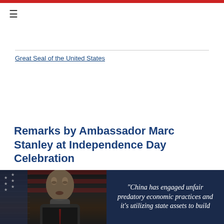Great Seal of the United States
Remarks by Ambassador Marc Stanley at Independence Day Celebration
[Figure (photo): Portrait photo of a man in front of an American flag, dark background]
[Figure (photo): Dark navy background with white italic quote text: "China has engaged unfair predatory economic practices and it's utilizing state assets to build"]